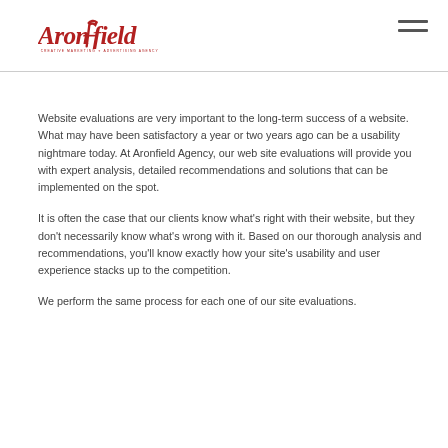Aronfield — Creative Marketing & Advertising Agency
Website evaluations are very important to the long-term success of a website. What may have been satisfactory a year or two years ago can be a usability nightmare today. At Aronfield Agency, our web site evaluations will provide you with expert analysis, detailed recommendations and solutions that can be implemented on the spot.
It is often the case that our clients know what's right with their website, but they don't necessarily know what's wrong with it. Based on our thorough analysis and recommendations, you'll know exactly how your site's usability and user experience stacks up to the competition.
We perform the same process for each one of our site evaluations.